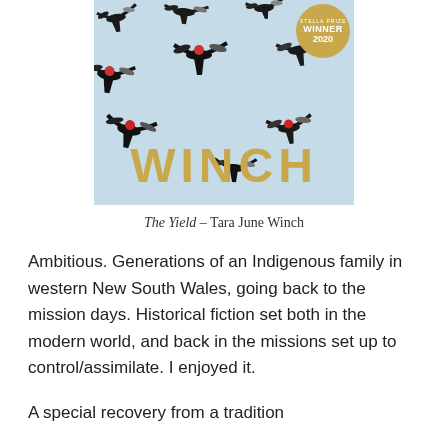[Figure (photo): Book cover of 'The Yield' by Tara June Winch showing birds (cranes/brolgas) in flight against a light blue sky with large golden letters 'WINCH' across the middle and an award badge top right reading 'WINNER 2020']
The Yield – Tara June Winch
Ambitious. Generations of an Indigenous family in western New South Wales, going back to the mission days. Historical fiction set both in the modern world, and back in the missions set up to control/assimilate. I enjoyed it.
A special recovery from a tradition